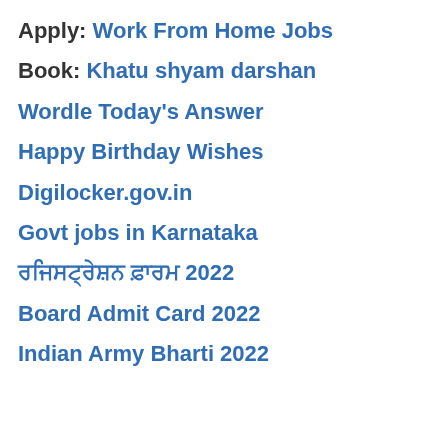Apply: Work From Home Jobs
Book: Khatu shyam darshan
Wordle Today's Answer
Happy Birthday Wishes
Digilocker.gov.in
Govt jobs in Karnataka
ਰਜਿਸਟ੍ਰੇਸ਼ਨ ਫ਼ਾਰਮ 2022
Board Admit Card 2022
Indian Army Bharti 2022